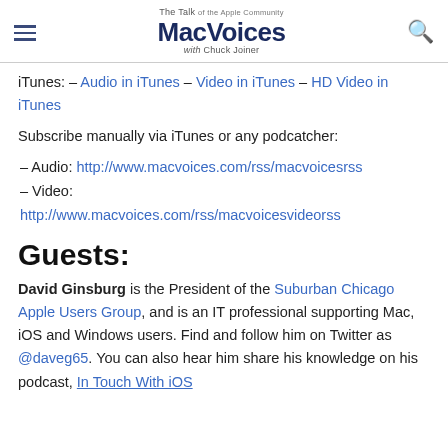The Talk of the Apple Community MacVoices with Chuck Joiner
iTunes: – Audio in iTunes – Video in iTunes – HD Video in iTunes
Subscribe manually via iTunes or any podcatcher:
– Audio: http://www.macvoices.com/rss/macvoicesrss
– Video: http://www.macvoices.com/rss/macvoicesvideorss
Guests:
David Ginsburg is the President of the Suburban Chicago Apple Users Group, and is an IT professional supporting Mac, iOS and Windows users. Find and follow him on Twitter as @daveg65. You can also hear him share his knowledge on his podcast, In Touch With iOS